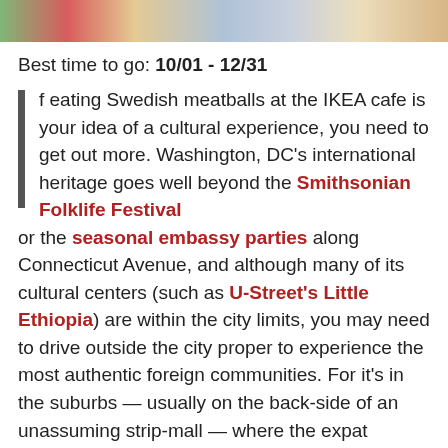[Figure (photo): Colorful photo strip at top of page showing people at a festival or cultural event]
Best time to go: 10/01 - 12/31
If eating Swedish meatballs at the IKEA cafe is your idea of a cultural experience, you need to get out more. Washington, DC's international heritage goes well beyond the Smithsonian Folklife Festival or the seasonal embassy parties along Connecticut Avenue, and although many of its cultural centers (such as U-Street's Little Ethiopia) are within the city limits, you may need to drive outside the city proper to experience the most authentic foreign communities. For it's in the suburbs — usually on the back-side of an unassuming strip-mall — where the expat community thrives.